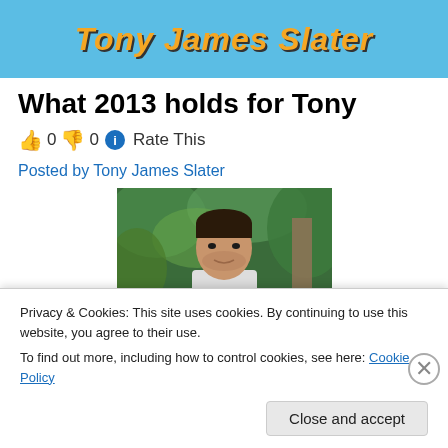Tony James Slater
What 2013 holds for Tony
👍 0 👎 0 ℹ Rate This
Posted by Tony James Slater
[Figure (photo): Portrait photo of a man (Tony James Slater) outdoors with green tropical foliage in the background]
Privacy & Cookies: This site uses cookies. By continuing to use this website, you agree to their use.
To find out more, including how to control cookies, see here: Cookie Policy
Close and accept